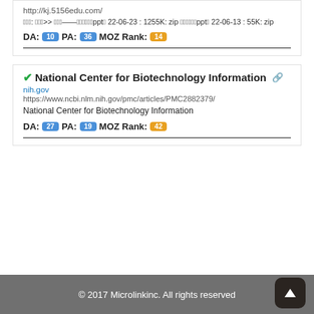http://kj.5156edu.com/
资源庭: 首页>> 资源库——远程教育资源ppt类 22-06-23 : 1255K: zip 远程教育资源ppt类 22-06-13 : 55K: zip
DA: 10 PA: 36 MOZ Rank: 14
National Center for Biotechnology Information
nih.gov
https://www.ncbi.nlm.nih.gov/pmc/articles/PMC2882379/
National Center for Biotechnology Information
DA: 27 PA: 19 MOZ Rank: 42
© 2017 Microlinkinc. All rights reserved